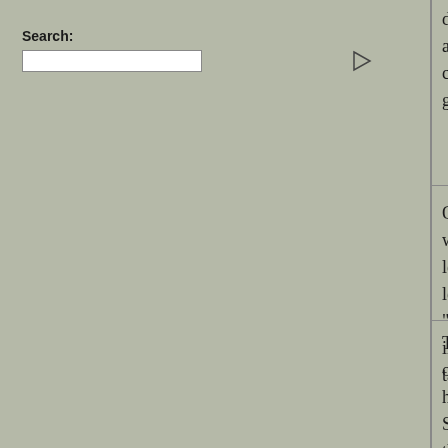Search:
disliked Chief of the Police existed than S appointed to fill the vacancy, will have the community at large, in the discreditable m general public has hailed his resignation with
On Monday evening, a man named Carling whom he was speaking that he could show lesson in anatomy. His previous conduct ha length information was given to the police. "Baker's Arms" Pitchford-street, and a tele inquiries convinced the police that there wa talk about it was nonsense. He was, therefor
The principal topic of the week has been t opinion of the public is - "Not too late, but ju his time - to Jerusalem (or Jericho) - he has Sir Richard Mayne created a great sens thoroughfares; but Sir Charles Warren went have his own way he has resigned.